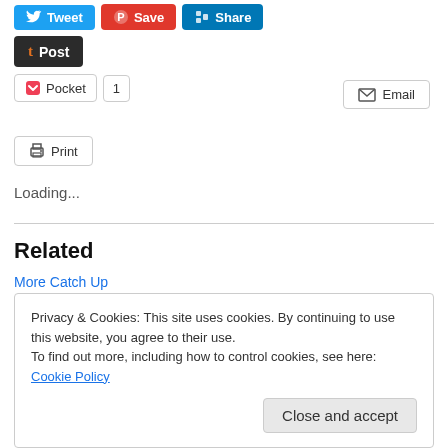[Figure (screenshot): Social sharing buttons row: Tweet (blue), Save (red), Share (LinkedIn blue)]
[Figure (screenshot): Tumblr Post button (dark background, white text, t icon)]
[Figure (screenshot): Pocket button with count of 1]
[Figure (screenshot): Email button (right-aligned)]
[Figure (screenshot): Print button]
Loading...
Related
More Catch Up
Privacy & Cookies: This site uses cookies. By continuing to use this website, you agree to their use.
To find out more, including how to control cookies, see here: Cookie Policy
Close and accept